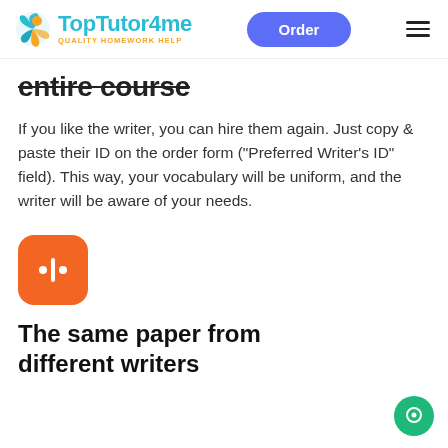TopTutor4me — QUALITY HOMEWORK HELP | Order
entire course
If you like the writer, you can hire them again. Just copy & paste their ID on the order form ("Preferred Writer's ID" field). This way, your vocabulary will be uniform, and the writer will be aware of your needs.
[Figure (logo): Orange rounded square icon with two dots and a vertical bar symbol, resembling an audio/equalizer icon]
The same paper from different writers